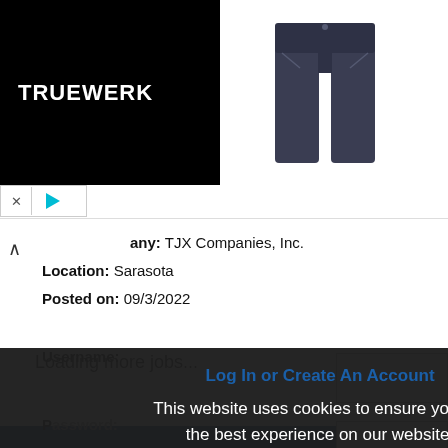[Figure (logo): TRUEWERK logo on black background with pants product image]
any: TJX Companies, Inc.
Location: Sarasota
Posted on: 09/3/2022
Loading more jobs...
Log In or Create An Account
This website uses cookies to ensure you get the best experience on our website.
Learn more
Got it!
Username:
Password: